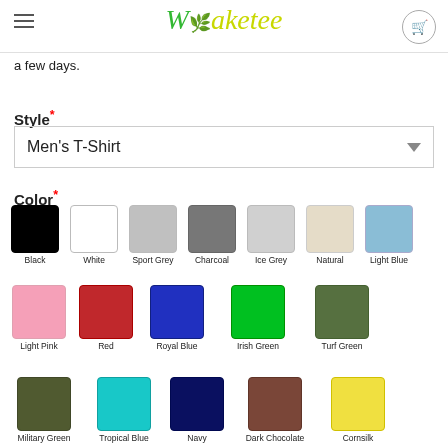Waketee
a few days.
Style*
Men's T-Shirt
Color*
[Figure (infographic): Color swatches for t-shirt color selection: Black, White, Sport Grey, Charcoal, Ice Grey, Natural, Light Blue, Light Pink, Red, Royal Blue, Irish Green, Turf Green, Military Green, Tropical Blue, Navy, Dark Chocolate, Cornsilk]